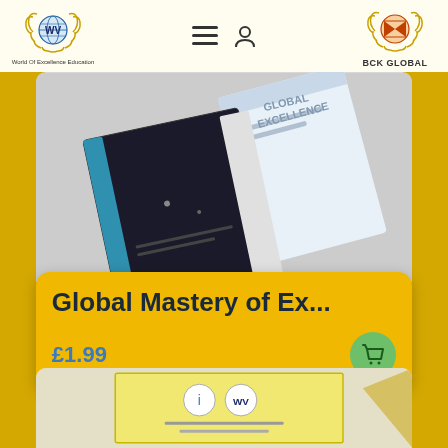[Figure (logo): World Of Excellence Education logo - laurel wreath with globe and WV monogram]
World Of Excellence Education
[Figure (logo): BCK GLOBAL logo - laurel wreath with hourglass/bow-tie icon]
BCK GLOBAL
[Figure (photo): Product image showing stacked books/notebooks - dark cover and light blue cover, rotated slightly, on grey background]
Global Mastery of Ex...
£1.99
[Figure (photo): Partial view of a yellow certificate with circular logo icons and text, partially visible at bottom of page]